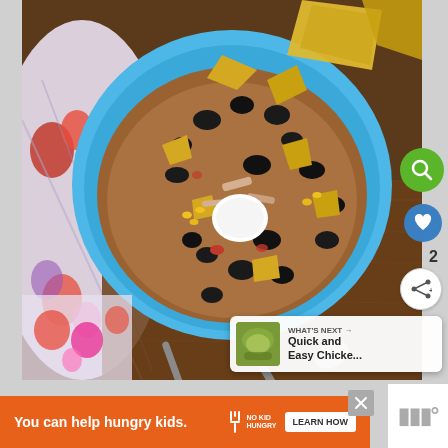[Figure (photo): Overhead photo of a blue bowl filled with chicken tortilla soup topped with black beans, tortilla chips, sour cream, and corn. A spoon rests beside the bowl on a wooden board with a floral cloth. A tortilla chip leans against the rim.]
[Figure (screenshot): UI overlay buttons: green search magnifier button, blue heart/favorite button, number '2', white share button]
[Figure (screenshot): 'WHAT'S NEXT' card overlay showing thumbnail of a green soup and text 'Quick and Easy Chicke...']
You can help hungry kids.
[Figure (logo): No Kid Hungry fork logo and text 'NO KID HUNGRY']
LEARN HOW